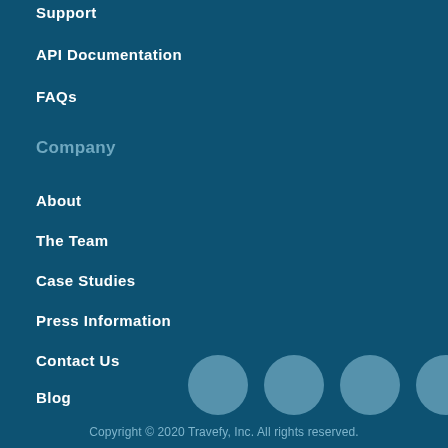Support
API Documentation
FAQs
Company
About
The Team
Case Studies
Press Information
Contact Us
Blog
Sign In
[Figure (illustration): Five light blue circles representing social media icon placeholders]
Copyright © 2020 Travefy, Inc. All rights reserved.